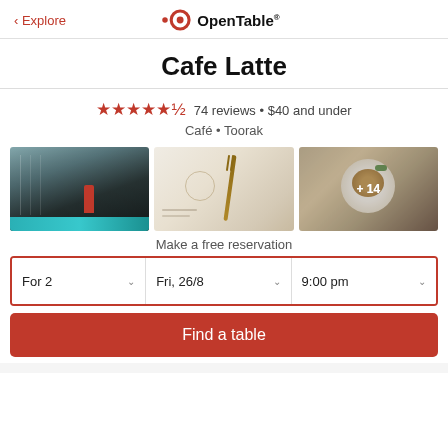< Explore | OpenTable
Cafe Latte
★★★★★½ 74 reviews • $40 and under
Café • Toorak
[Figure (photo): Three restaurant photos: cafe exterior with glass doors and a person in red jacket; menu card with fork; food dish with garnish. Third photo shows '+ 14' overlay.]
Make a free reservation
For 2   |   Fri, 26/8   |   9:00 pm
Find a table